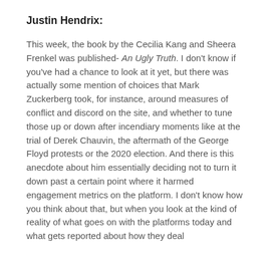Justin Hendrix:
This week, the book by the Cecilia Kang and Sheera Frenkel was published- An Ugly Truth. I don't know if you've had a chance to look at it yet, but there was actually some mention of choices that Mark Zuckerberg took, for instance, around measures of conflict and discord on the site, and whether to tune those up or down after incendiary moments like at the trial of Derek Chauvin, the aftermath of the George Floyd protests or the 2020 election. And there is this anecdote about him essentially deciding not to turn it down past a certain point where it harmed engagement metrics on the platform. I don't know how you think about that, but when you look at the kind of reality of what goes on with the platforms today and what gets reported about how they deal with the serious content and the harm and health...